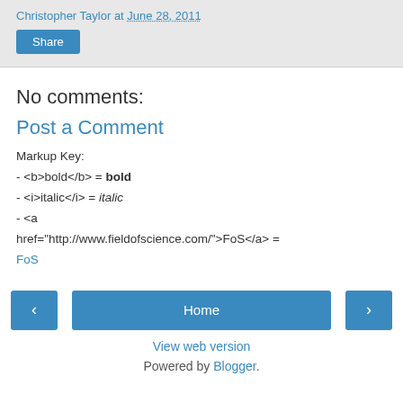Christopher Taylor at June 28, 2011
Share
No comments:
Post a Comment
Markup Key:
- <b>bold</b> = bold
- <i>italic</i> = italic
- <a href="http://www.fieldofscience.com/">FoS</a> = FoS
Home
View web version
Powered by Blogger.